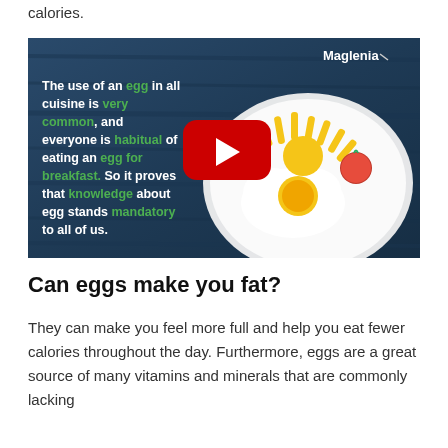calories.
[Figure (screenshot): Video thumbnail showing a fried egg arranged as a sun on a white plate against a dark blue wooden background. Text overlay reads: 'The use of an egg in all cuisine is very common, and everyone is habitual of eating an egg for breakfast. So it proves that knowledge about egg stands mandatory to all of us.' A YouTube play button is overlaid in the center. Top-right shows 'Maglenia' branding.]
Can eggs make you fat?
They can make you feel more full and help you eat fewer calories throughout the day. Furthermore, eggs are a great source of many vitamins and minerals that are commonly lacking